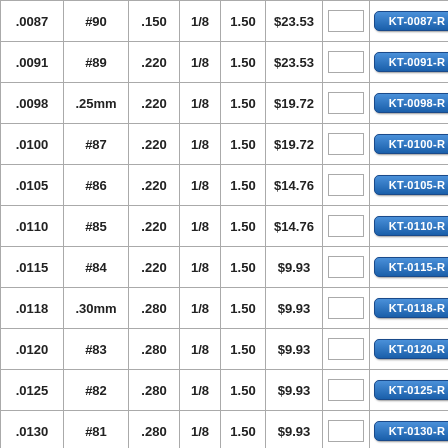| .0087 | #90 | .150 | 1/8 | 1.50 | $23.53 |  | KT-0087-R |
| .0091 | #89 | .220 | 1/8 | 1.50 | $23.53 |  | KT-0091-R |
| .0098 | .25mm | .220 | 1/8 | 1.50 | $19.72 |  | KT-0098-R |
| .0100 | #87 | .220 | 1/8 | 1.50 | $19.72 |  | KT-0100-R |
| .0105 | #86 | .220 | 1/8 | 1.50 | $14.76 |  | KT-0105-R |
| .0110 | #85 | .220 | 1/8 | 1.50 | $14.76 |  | KT-0110-R |
| .0115 | #84 | .220 | 1/8 | 1.50 | $9.93 |  | KT-0115-R |
| .0118 | .30mm | .280 | 1/8 | 1.50 | $9.93 |  | KT-0118-R |
| .0120 | #83 | .280 | 1/8 | 1.50 | $9.93 |  | KT-0120-R |
| .0125 | #82 | .280 | 1/8 | 1.50 | $9.93 |  | KT-0125-R |
| .0130 | #81 | .280 | 1/8 | 1.50 | $9.93 |  | KT-0130-R |
| .0135 | #80 | .280 | 1/8 | 1.50 | $9.93 |  | KT-0135-R |